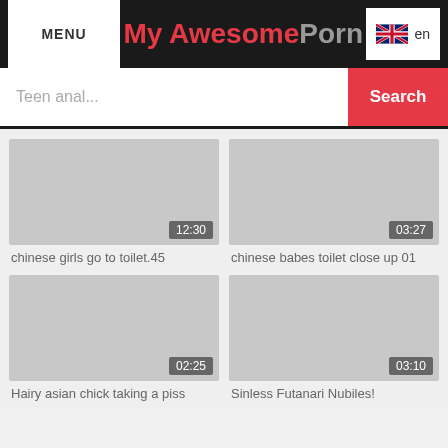MENU | My AwesomePorn | en
Teen anal...
Search
[Figure (screenshot): Video thumbnail placeholder for 'chinese girls go to toilet.45', duration 12:30]
chinese girls go to toilet.45
[Figure (screenshot): Video thumbnail placeholder for 'chinese babes toilet close up 01', duration 03:27]
chinese babes toilet close up 01
[Figure (screenshot): Video thumbnail placeholder for 'Hairy asian chick taking a piss', duration 02:25]
Hairy asian chick taking a piss
[Figure (screenshot): Video thumbnail placeholder for 'Sinless Futanari Nubiles!', duration 03:10]
Sinless Futanari Nubiles!